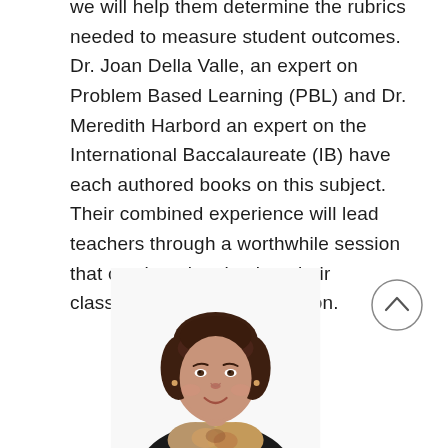we will help them determine the rubrics needed to measure student outcomes. Dr. Joan Della Valle, an expert on Problem Based Learning (PBL) and Dr. Meredith Harbord an expert on the International Baccalaureate (IB) have each authored books on this subject. Their combined experience will lead teachers through a worthwhile session that can be taken back to their classrooms for implementation.
[Figure (photo): Headshot of a woman with short dark hair, wearing a black top and a floral/patterned scarf, smiling at the camera against a white background.]